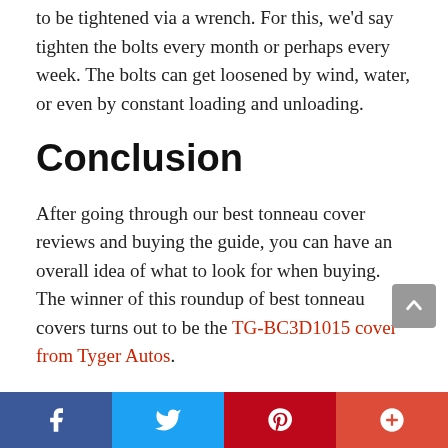to be tightened via a wrench. For this, we'd say tighten the bolts every month or perhaps every week. The bolts can get loosened by wind, water, or even by constant loading and unloading.
Conclusion
After going through our best tonneau cover reviews and buying the guide, you can have an overall idea of what to look for when buying. The winner of this roundup of best tonneau covers turns out to be the TG-BC3D1015 cover from Tyger Autos.
It will not only add looks to your vehicle but will also keep your cargo safe from various external elements. The cover goes well with all recent models of Dodge Ram and